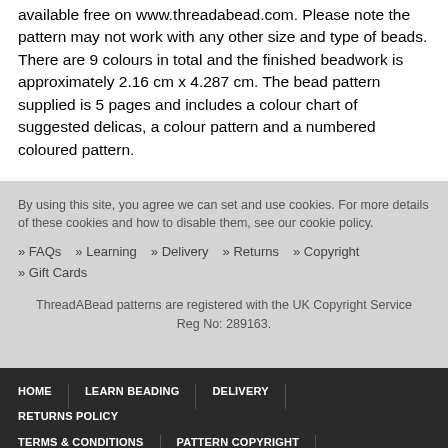available free on www.threadabead.com. Please note the pattern may not work with any other size and type of beads. There are 9 colours in total and the finished beadwork is approximately 2.16 cm x 4.287 cm. The bead pattern supplied is 5 pages and includes a colour chart of suggested delicas, a colour pattern and a numbered coloured pattern.
By using this site, you agree we can set and use cookies. For more details of these cookies and how to disable them, see our cookie policy.
» FAQs   » Learning   » Delivery   » Returns   » Copyright   » Gift Cards
ThreadABead patterns are registered with the UK Copyright Service Reg No: 289163.
HOME | LEARN BEADING | DELIVERY | RETURNS POLICY | TERMS & CONDITIONS | PATTERN COPYRIGHT | PRIVACY POLICY | COOKIE POLICY | CONTACT US
©2007-2022 THREADABEAD LTD. ALL RIGHTS RESERVED.